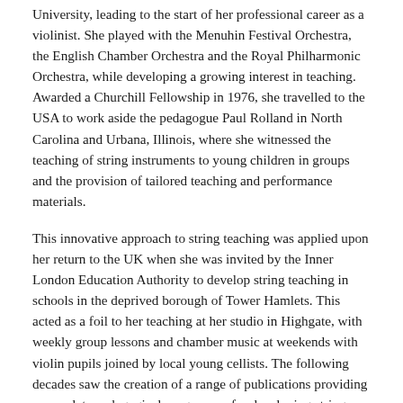University, leading to the start of her professional career as a violinist. She played with the Menuhin Festival Orchestra, the English Chamber Orchestra and the Royal Philharmonic Orchestra, while developing a growing interest in teaching. Awarded a Churchill Fellowship in 1976, she travelled to the USA to work aside the pedagogue Paul Rolland in North Carolina and Urbana, Illinois, where she witnessed the teaching of string instruments to young children in groups and the provision of tailored teaching and performance materials.
This innovative approach to string teaching was applied upon her return to the UK when she was invited by the Inner London Education Authority to develop string teaching in schools in the deprived borough of Tower Hamlets. This acted as a foil to her teaching at her studio in Highgate, with weekly group lessons and chamber music at weekends with violin pupils joined by local young cellists. The following decades saw the creation of a range of publications providing a complete pedagogical programme for developing string players. These made 'Sheila M. Nelson' a familiar name to teachers and pupils around the world and fostered a network of players and teachers inspired by her method.